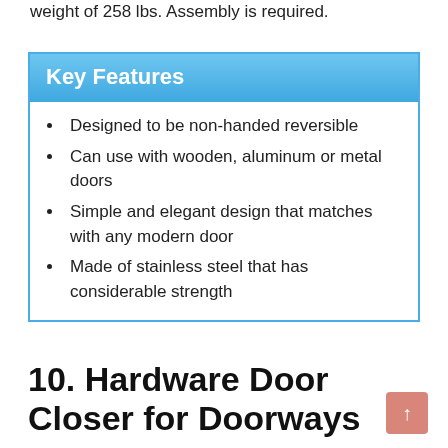weight of 258 lbs. Assembly is required.
Key Features
Designed to be non-handed reversible
Can use with wooden, aluminum or metal doors
Simple and elegant design that matches with any modern door
Made of stainless steel that has considerable strength
10. Hardware Door Closer for Doorways